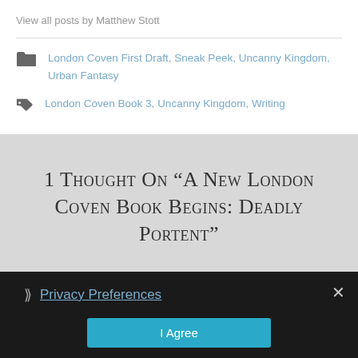View all posts by Matthew Stott
London Coven First Draft, Sneak Peek, Uncanny Kingdom, Urban Fantasy
London Coven Book 3, Uncanny Kingdom, Writing
1 thought on “A New London Coven Book Begins: Deadly Portent”
Privacy Preferences
I Agree